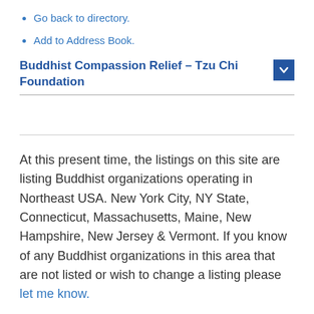Go back to directory.
Add to Address Book.
Buddhist Compassion Relief – Tzu Chi Foundation
At this present time, the listings on this site are listing Buddhist organizations operating in Northeast USA. New York City, NY State, Connecticut, Massachusetts, Maine, New Hampshire, New Jersey & Vermont. If you know of any Buddhist organizations in this area that are not listed or wish to change a listing please let me know.